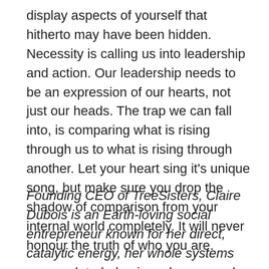display aspects of yourself that hitherto may have been hidden. Necessity is calling us into leadership and action. Our leadership needs to be an expression of our hearts, not just our heads. The trap we can fall into, is comparing what is rising through us to what is rising through another. Let your heart sing it's unique song, but make sure you drop the shadow of comparison from your internal world completely. It will never honour the truth of who you are.
Founding CEO of TreeSisters, Claire Dubois is an Earth-loving social entrepreneur known for her direct, catalytic energy, her whole systems approach to behaviour change, and her unending loyalty and love for the natural world.' 'Grow Your Own Forest' with